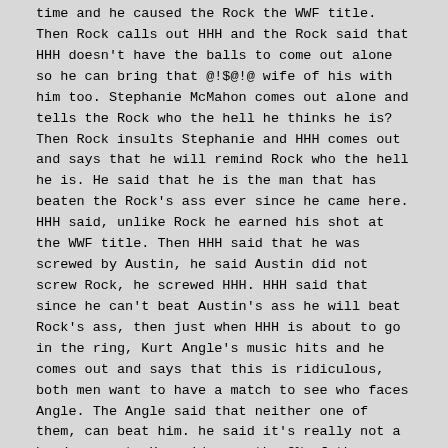time and he caused the Rock the WWF title. Then Rock calls out HHH and the Rock said that HHH doesn't have the balls to come out alone so he can bring that @!$@!@ wife of his with him too. Stephanie McMahon comes out alone and tells the Rock who the hell he thinks he is? Then Rock insults Stephanie and HHH comes out and says that he will remind Rock who the hell he is. He said that he is the man that has beaten the Rock's ass ever since he came here. HHH said, unlike Rock he earned his shot at the WWF title. Then HHH said that he was screwed by Austin, he said Austin did not screw Rock, he screwed HHH. HHH said that since he can't beat Austin's ass he will beat Rock's ass, then just when HHH is about to go in the ring, Kurt Angle's music hits and he comes out and says that this is ridiculous, both men want to have a match to see who faces Angle. The Angle said that neither one of them, can beat him. he said it's really not a hard concept. He said even the 3% of the people here tonight who have a high school diploma can even understand that. Angle said if they both want a match to see who will face him, they can go ahead but he said that he will still beat who ever wins. Then Vince McMahon comes out and says that in the interest of fairness, then Rock interrupted him and said to stop with that interest of fairness crap and to go get a brand new XFL football and shove it up his ass. Kurt Angle says that he thinks McMahon is always fair. Then Vince said that tonight Rock will face HHH, but not exactly like they think. He said that HHH should team up with Austin